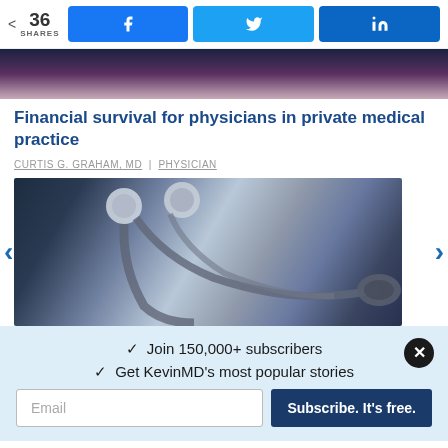36 SHARES | Facebook | Twitter | LinkedIn
[Figure (photo): Top portion of an article preview image with dark blue to pink gradient background]
Financial survival for physicians in private medical practice
CURTIS G. GRAHAM, MD | PHYSICIAN
[Figure (photo): Close-up photo of a stethoscope on a dark surface]
✓ Join 150,000+ subscribers
✓ Get KevinMD's most popular stories
Email | Subscribe. It's free.